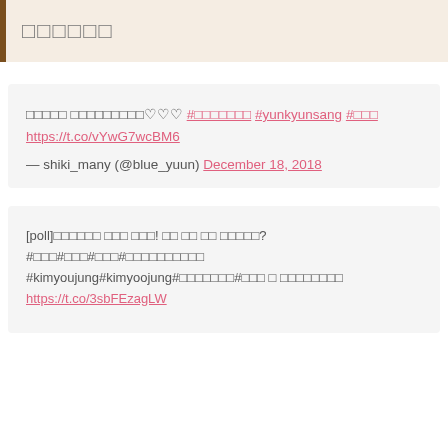□□□□□□
□□□□□ □□□□□□□□□♡♡♡ #□□□□□□□ #yunkyunsang #□□□ https://t.co/vYwG7wcBM6
— shiki_many (@blue_yuun) December 18, 2018
[poll]□□□□□□ □□□ □□□! □□ □□ □□ □□□□□? #□□□#□□□#□□□#□□□□□□□□□□ #kimyoujung#kimyoojung#□□□□□□□#□□□ □ □□□□□□□□ https://t.co/3sbFEzagLW